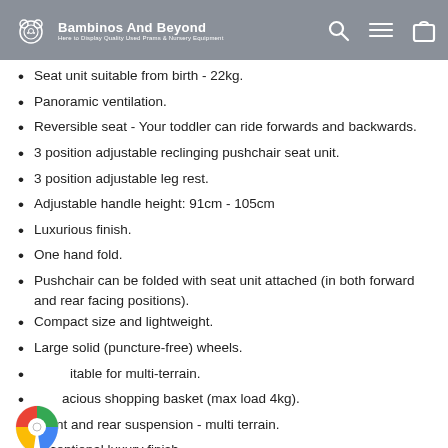Bambinos And Beyond - Here to Display Quality Used Prams & Nursery Equipment
Seat unit suitable from birth - 22kg.
Panoramic ventilation.
Reversible seat - Your toddler can ride forwards and backwards.
3 position adjustable reclinging pushchair seat unit.
3 position adjustable leg rest.
Adjustable handle height: 91cm - 105cm
Luxurious finish.
One hand fold.
Pushchair can be folded with seat unit attached (in both forward and rear facing positions).
Compact size and lightweight.
Large solid (puncture-free) wheels.
Suitable for multi-terrain.
Spacious shopping basket (max load 4kg).
Front and rear suspension - multi terrain.
Exceptional luxury finish.